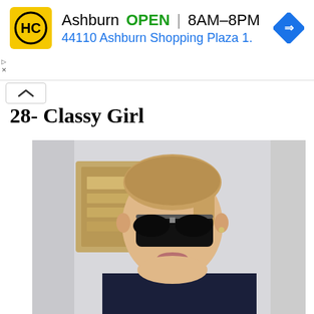[Figure (screenshot): Ad banner for HC store in Ashburn showing logo, OPEN status, hours 8AM-8PM, address 44110 Ashburn Shopping Plaza 1., and navigation icon]
28- Classy Girl
[Figure (photo): A young woman with blonde hair in a ponytail wearing dark sunglasses and a navy turtleneck sweater, photographed outdoors in front of a building]